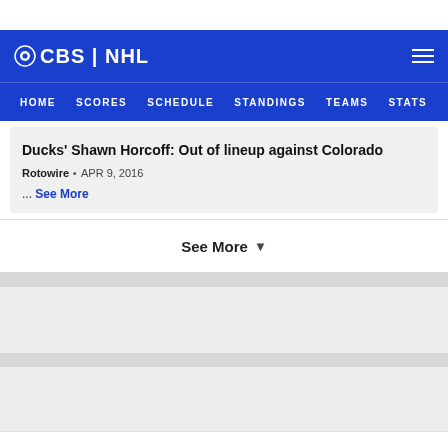CBS | NHL
HOME SCORES SCHEDULE STANDINGS TEAMS STATS
Ducks' Shawn Horcoff: Out of lineup against Colorado
Rotowire · APR 9, 2016
... See More
See More
Player Bio